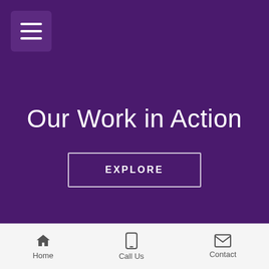[Figure (screenshot): Hamburger menu icon button in top-left corner on purple background]
Our Work in Action
EXPLORE
Home   Call Us   Contact